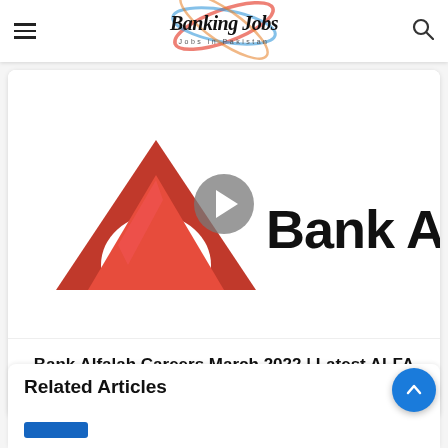Banking Jobs — Jobs in Pakistan
Habib Metr… J22 | Latest…
[Figure (screenshot): Bank Alfalah logo with red triangular/heart shaped icon on left and bold 'Bank Alfalah' text on right, with a gray play button overlay in the center]
Bank Alfalah Careers March 2022 | Latest ALFA LEAD Management Trainee Programme Jobs
Related Articles